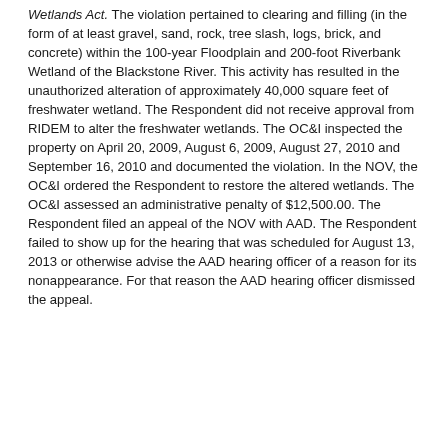Wetlands Act. The violation pertained to clearing and filling (in the form of at least gravel, sand, rock, tree slash, logs, brick, and concrete) within the 100-year Floodplain and 200-foot Riverbank Wetland of the Blackstone River. This activity has resulted in the unauthorized alteration of approximately 40,000 square feet of freshwater wetland. The Respondent did not receive approval from RIDEM to alter the freshwater wetlands. The OC&I inspected the property on April 20, 2009, August 6, 2009, August 27, 2010 and September 16, 2010 and documented the violation. In the NOV, the OC&I ordered the Respondent to restore the altered wetlands. The OC&I assessed an administrative penalty of $12,500.00. The Respondent filed an appeal of the NOV with AAD. The Respondent failed to show up for the hearing that was scheduled for August 13, 2013 or otherwise advise the AAD hearing officer of a reason for its nonappearance. For that reason the AAD hearing officer dismissed the appeal.